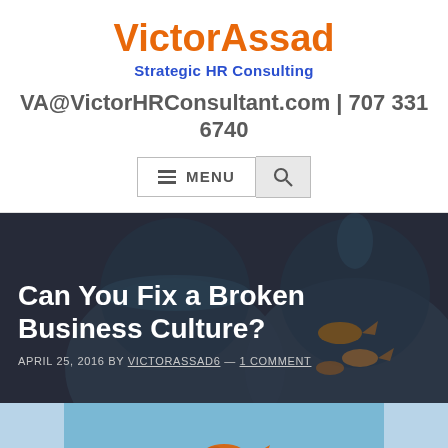VictorAssad
Strategic HR Consulting
VA@VictorHRConsultant.com | 707 331 6740
[Figure (screenshot): Navigation bar with hamburger menu icon and MENU text, plus a search icon button]
Can You Fix a Broken Business Culture?
APRIL 25, 2016 BY VICTORASSAD6 — 1 COMMENT
[Figure (photo): Partial view of a photo showing a goldfish against a blue sky background, bottom of the page]